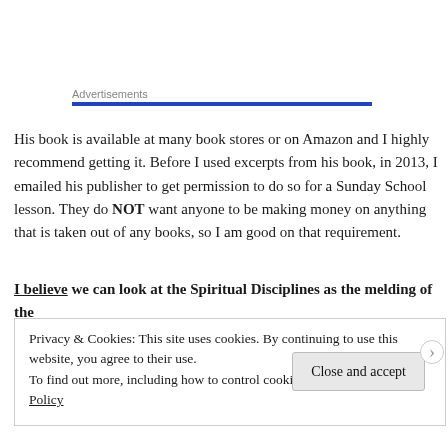Advertisements
His book is available at many book stores or on Amazon and I highly recommend getting it. Before I used excerpts from his book, in 2013, I emailed his publisher to get permission to do so for a Sunday School lesson. They do NOT want anyone to be making money on anything that is taken out of any books, so I am good on that requirement.
I believe we can look at the Spiritual Disciplines as the melding of the
Privacy & Cookies: This site uses cookies. By continuing to use this website, you agree to their use.
To find out more, including how to control cookies, see here: Cookie Policy
Close and accept